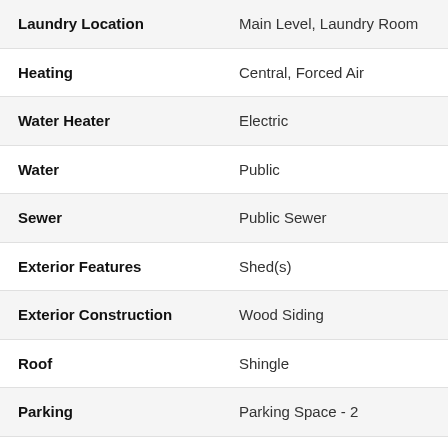| Property Feature | Value |
| --- | --- |
| Laundry Location | Main Level, Laundry Room |
| Heating | Central, Forced Air |
| Water Heater | Electric |
| Water | Public |
| Sewer | Public Sewer |
| Exterior Features | Shed(s) |
| Exterior Construction | Wood Siding |
| Roof | Shingle |
| Parking | Parking Space - 2 |
| Driveway | Asphalt |